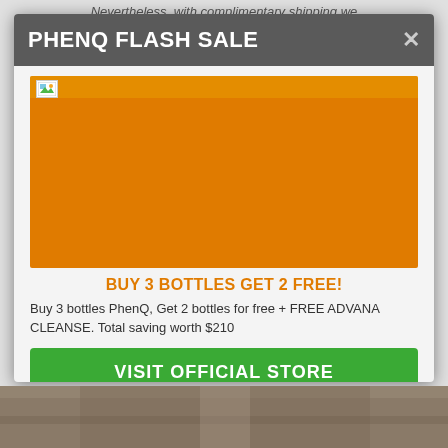Nevertheless, with complimentary shipping we
PHENQ FLASH SALE
[Figure (photo): Orange background promotional image for PhenQ flash sale]
BUY 3 BOTTLES GET 2 FREE!
Buy 3 bottles PhenQ, Get 2 bottles for free + FREE ADVANA CLEANSE. Total saving worth $210
VISIT OFFICIAL STORE
[Figure (photo): Bottom strip showing a wood texture background image]